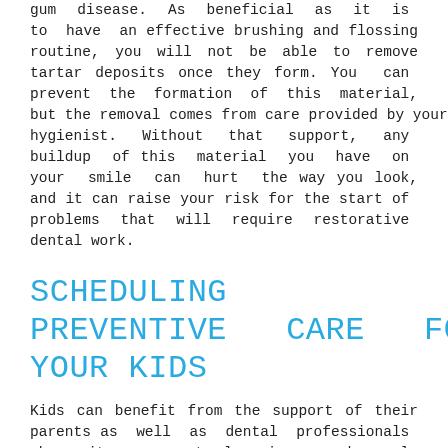gum disease. As beneficial as it is to have an effective brushing and flossing routine, you will not be able to remove tartar deposits once they form. You can prevent the formation of this material, but the removal comes from care provided by your hygienist. Without that support, any buildup of this material you have on your smile can hurt the way you look, and it can raise your risk for the start of problems that will require restorative dental work.
SCHEDULING PREVENTIVE CARE FOR YOUR KIDS
Kids can benefit from the support of their parents as well as dental professionals when it comes to learning good oral hygiene habits. At their earliest pediatric dental appointments, we can provide direct care and help introduce them to topics concerning home smile care. As they age, we can keep up with their oral health needs and verify